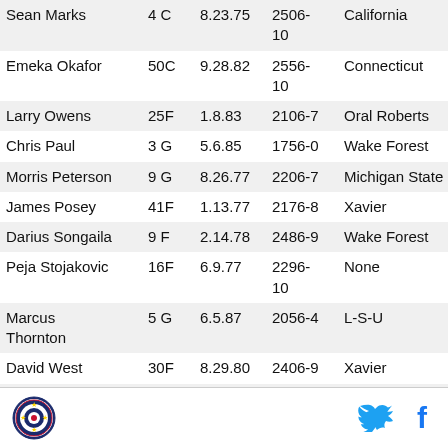| Name | Num/Pos | Date | Code | College |
| --- | --- | --- | --- | --- |
| Sean Marks | 4  C | 8.23.75 | 2506-10 | California |
| Emeka Okafor | 50C | 9.28.82 | 2556-10 | Connecticut |
| Larry Owens | 25F | 1.8.83 | 2106-7 | Oral Roberts |
| Chris Paul | 3  G | 5.6.85 | 1756-0 | Wake Forest |
| Morris Peterson | 9  G | 8.26.77 | 2206-7 | Michigan State |
| James Posey | 41F | 1.13.77 | 2176-8 | Xavier |
| Darius Songaila | 9  F | 2.14.78 | 2486-9 | Wake Forest |
| Peja Stojakovic | 16F | 6.9.77 | 2296-10 | None |
| Marcus Thornton | 5  G | 6.5.87 | 2056-4 | L-S-U |
| David West | 30F | 8.29.80 | 2406-9 | Xavier |
| Julian Wright | 32F | 5.20.87 | 2256-8 | Kansas |
[Figure (logo): Circular sports/team logo with dark blue border and emblem in center]
[Figure (logo): Twitter bird icon in blue]
[Figure (logo): Facebook 'f' icon in blue]